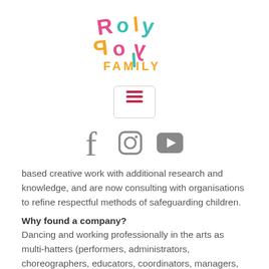[Figure (logo): Roly Poly Family logo with colorful playful letters and orange FAMILY text]
[Figure (screenshot): Hamburger menu button icon with three red horizontal lines inside a rounded rectangle border]
[Figure (infographic): Social media icons: Facebook, Instagram, YouTube in grey]
based creative work with additional research and knowledge, and are now consulting with organisations to refine respectful methods of safeguarding children.
Why found a company?
Dancing and working professionally in the arts as multi-hatters (performers, administrators, choreographers, educators, coordinators, managers, producers…) we arrived at a point where we thought it would be helpful to